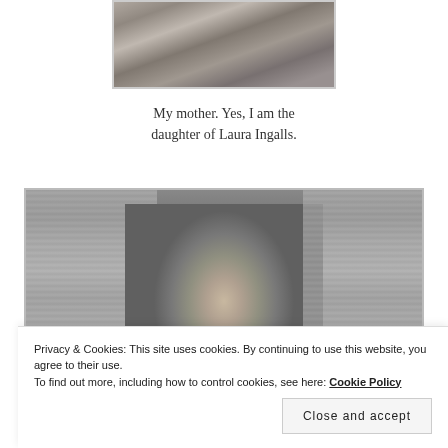[Figure (photo): Black and white photo of a person, cropped, shown from approximately waist up, partially visible]
My mother. Yes, I am the daughter of Laura Ingalls.
[Figure (photo): Black and white photo of a woman with dark hair, smiling, wearing a patterned shirt, other people partially visible in background]
Privacy & Cookies: This site uses cookies. By continuing to use this website, you agree to their use.
To find out more, including how to control cookies, see here: Cookie Policy
Close and accept